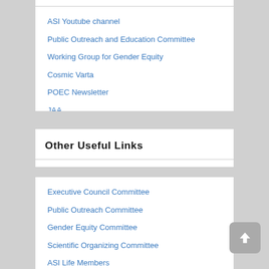ASI Youtube channel
Public Outreach and Education Committee
Working Group for Gender Equity
Cosmic Varta
POEC Newsletter
JAA
ASI 2022 Meeting
Obituaries
Other Useful Links
Executive Council Committee
Public Outreach Committee
Gender Equity Committee
Scientific Organizing Committee
ASI Life Members
Sitemap